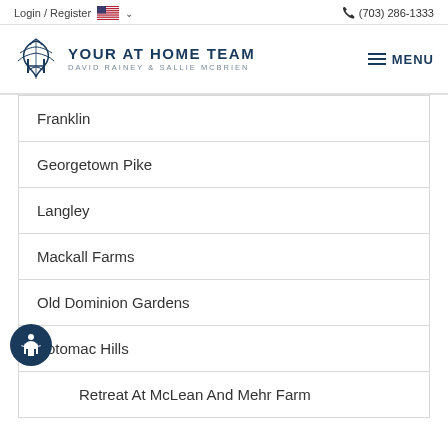Login / Register  🇺🇸 ∨   📞 (703) 286-1333
[Figure (logo): Your At Home Team logo with decorative script and text 'YOUR AT HOME TEAM' and 'DAVID RAINEY & SALLIE MCBRIEN']
Franklin
Georgetown Pike
Langley
Mackall Farms
Old Dominion Gardens
Potomac Hills
Retreat At McLean And Mehr Farm